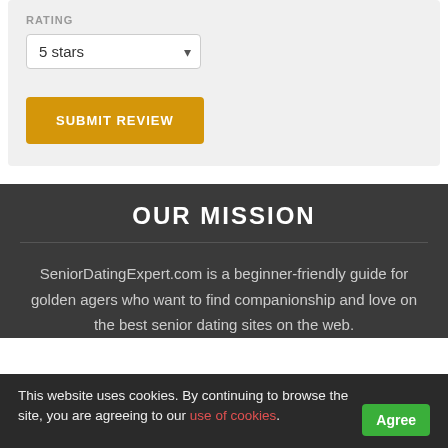RATING
5 stars
SUBMIT REVIEW
OUR MISSION
SeniorDatingExpert.com is a beginner-friendly guide for golden agers who want to find companionship and love on the best senior dating sites on the web.
This website uses cookies. By continuing to browse the site, you are agreeing to our use of cookies.
Agree